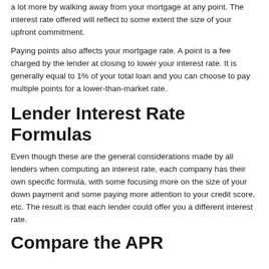a lot more by walking away from your mortgage at any point. The interest rate offered will reflect to some extent the size of your upfront commitment.
Paying points also affects your mortgage rate. A point is a fee charged by the lender at closing to lower your interest rate. It is generally equal to 1% of your total loan and you can choose to pay multiple points for a lower-than-market rate.
Lender Interest Rate Formulas
Even though these are the general considerations made by all lenders when computing an interest rate, each company has their own specific formula, with some focusing more on the size of your down payment and some paying more attention to your credit score, etc. The result is that each lender could offer you a different interest rate.
Compare the APR